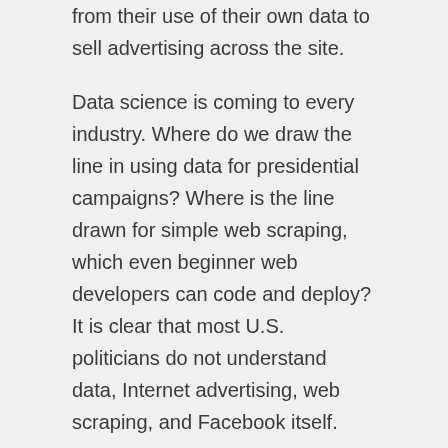from their use of their own data to sell advertising across the site.
Data science is coming to every industry. Where do we draw the line in using data for presidential campaigns? Where is the line drawn for simple web scraping, which even beginner web developers can code and deploy? It is clear that most U.S. politicians do not understand data, Internet advertising, web scraping, and Facebook itself.
The Internet, technology, and politics haven't always been associated together. But they need to figure out a way to work well together; our society will be greatly impacted by this.